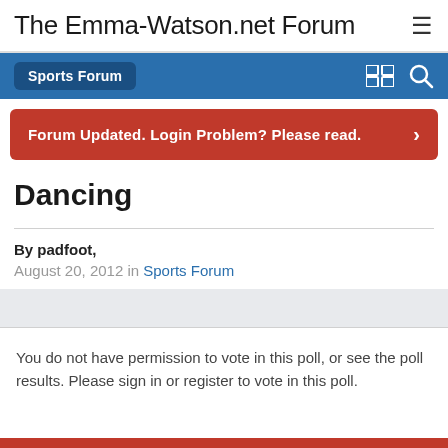The Emma-Watson.net Forum
Sports Forum
Forum Updated. Login Problem? Please read.
Dancing
By padfoot,
August 20, 2012 in Sports Forum
You do not have permission to vote in this poll, or see the poll results. Please sign in or register to vote in this poll.